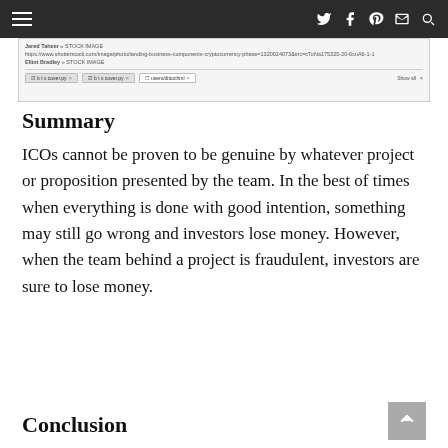Navigation bar with hamburger menu and social icons
[Figure (screenshot): Browser screenshot showing stock image attribution URLs and browser tab bar]
Summary
ICOs cannot be proven to be genuine by whatever project or proposition presented by the team. In the best of times when everything is done with good intention, something may still go wrong and investors lose money. However, when the team behind a project is fraudulent, investors are sure to lose money.
Conclusion